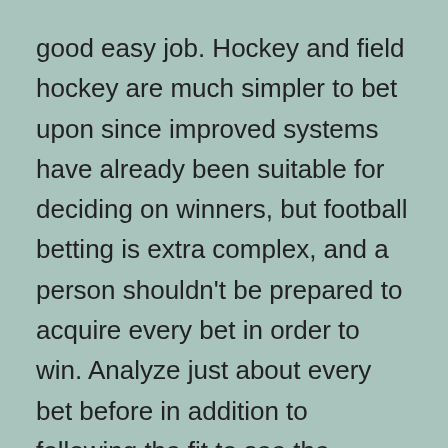good easy job. Hockey and field hockey are much simpler to bet upon since improved systems have already been suitable for deciding on winners, but football betting is extra complex, and a person shouldn't be prepared to acquire every bet in order to win. Analyze just about every bet before in addition to following the fit to see the situation from 2 angles – is it still an experienced bet? Was now there something that occurred throughout play that produced you want you'd considered that quicker and may even be bet differently? Whichever the outcome, nevertheless , a